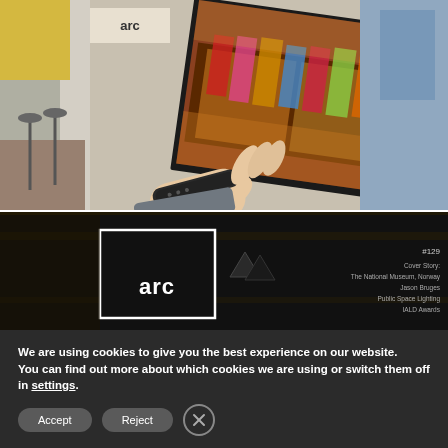[Figure (photo): A hand holding a large printed photograph showing a museum/gallery interior display. The office/studio background has yellow walls and ARC signage. The printed photo shows colorful garments on display with dramatic lighting.]
[Figure (screenshot): Dark background showing ARC magazine cover with logo. Text on right reads: #129, Cover Story:, The National Museum, Norway, Jason Bruges, Public Space Lighting, IALD Awards]
We are using cookies to give you the best experience on our website.
You can find out more about which cookies we are using or switch them off in settings.
Accept
Reject